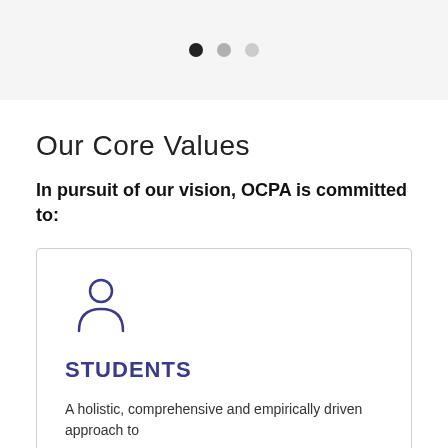[Figure (other): Pagination dots: one filled dark circle and two lighter circles indicating a slideshow or carousel position indicator]
Our Core Values
In pursuit of our vision, OCPA is committed to:
[Figure (illustration): Blue outline icon of a person/student figure]
STUDENTS
A holistic, comprehensive and empirically driven approach to